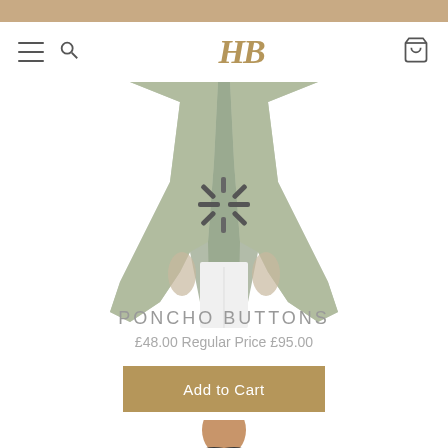[Figure (screenshot): E-commerce website screenshot showing a fashion retail site with logo 'HB', navigation icons, a poncho product image in sage green, loading spinner overlay, product name 'PONCHO BUTTONS', sale price £48.00 Regular Price £95.00, Add to Cart button, and partial second product image at bottom]
PONCHO BUTTONS
£48.00 Regular Price £95.00
Add to Cart